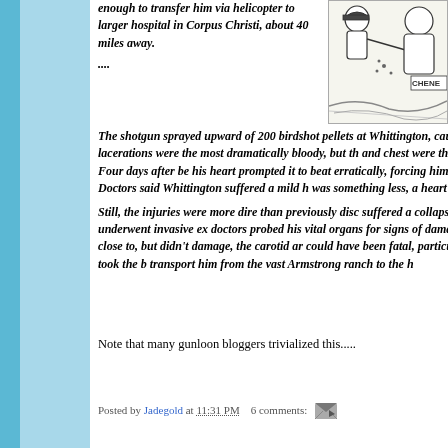enough to transfer him via helicopter to larger hospital in Corpus Christi, about 40 miles away.
....
The shotgun sprayed upward of 200 birdshot pellets at Whittington, causing scores of wounds. The lacerations were the most dramatically bloody, but the pellets lodged in his face and chest were the most serious. Four days after being shot, a pellet lodged near his heart prompted it to beat erratically, forcing him into the intensive care unit. Doctors said Whittington suffered a mild heart attack, or perhaps it was something less, a heart "event."
Still, the injuries were more dire than previously disclosed. Whittington suffered a collapsed lung. He underwent invasive exploratory surgery as doctors probed his vital organs for signs of damage. A pellet from Cheney's gun came close to, but didn't damage, the carotid artery — a wound that could have been fatal, particularly since it took the better part of an hour to transport him from the vast Armstrong ranch to the hospital.
[Figure (illustration): Editorial cartoon showing two figures, one labeled CHENE (Cheney), in a shooting-related scene]
Note that many gunloon bloggers trivialized this.....
Posted by Jadegold at 11:31 PM   6 comments: